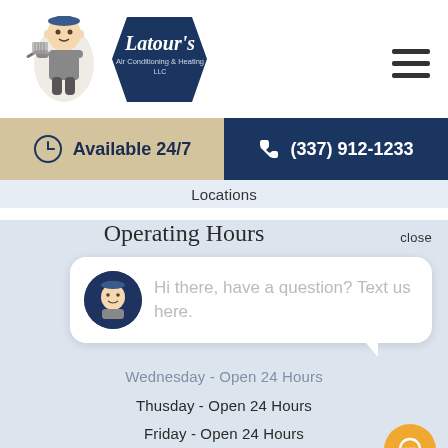[Figure (logo): Latour's Air Conditioning & Heating LLC logo — cartoon mascot holding a wrench next to a dark blue diamond/hexagon badge with cursive text]
[Figure (other): Hamburger menu icon (three horizontal lines)]
Available 24/7
(337) 912-1233
Locations
close
Operating Hours
Hi there, have a question? Text us here.
Wednesday - Open 24 Hours
Thusday - Open 24 Hours
Friday - Open 24 Hours
Saturday - Open 24 Hours